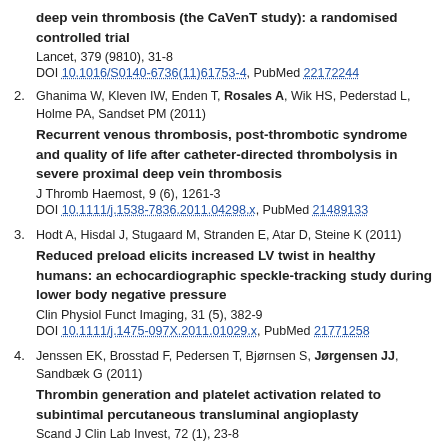deep vein thrombosis (the CaVenT study): a randomised controlled trial
Lancet, 379 (9810), 31-8
DOI 10.1016/S0140-6736(11)61753-4, PubMed 22172244
2. Ghanima W, Kleven IW, Enden T, Rosales A, Wik HS, Pederstad L, Holme PA, Sandset PM (2011) Recurrent venous thrombosis, post-thrombotic syndrome and quality of life after catheter-directed thrombolysis in severe proximal deep vein thrombosis. J Thromb Haemost, 9 (6), 1261-3. DOI 10.1111/j.1538-7836.2011.04298.x, PubMed 21489133
3. Hodt A, Hisdal J, Stugaard M, Stranden E, Atar D, Steine K (2011) Reduced preload elicits increased LV twist in healthy humans: an echocardiographic speckle-tracking study during lower body negative pressure. Clin Physiol Funct Imaging, 31 (5), 382-9. DOI 10.1111/j.1475-097X.2011.01029.x, PubMed 21771258
4. Jenssen EK, Brosstad F, Pedersen T, Bjørnsen S, Jørgensen JJ, Sandbæk G (2011) Thrombin generation and platelet activation related to subintimal percutaneous transluminal angioplasty. Scand J Clin Lab Invest, 72 (1), 23-8